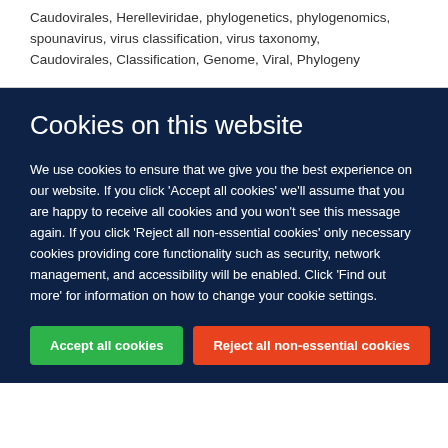Caudovirales, Herelleviridae, phylogenetics, phylogenomics, spounavirus, virus classification, virus taxonomy, Caudovirales, Classification, Genome, Viral, Phylogeny
Cookies on this website
We use cookies to ensure that we give you the best experience on our website. If you click 'Accept all cookies' we'll assume that you are happy to receive all cookies and you won't see this message again. If you click 'Reject all non-essential cookies' only necessary cookies providing core functionality such as security, network management, and accessibility will be enabled. Click 'Find out more' for information on how to change your cookie settings.
Accept all cookies | Reject all non-essential cookies